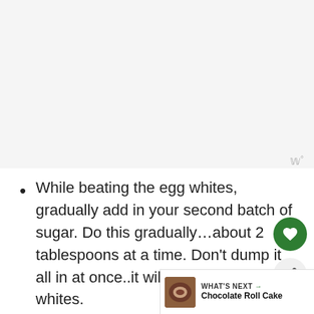[Figure (photo): Large blank/white-grey area at top of page, representing an image placeholder or cropped content area]
While beating the egg whites, gradually add in your second batch of sugar. Do this gradually…about 2 tablespoons at a time. Don't dump it all in at once..it will flatten your whites.